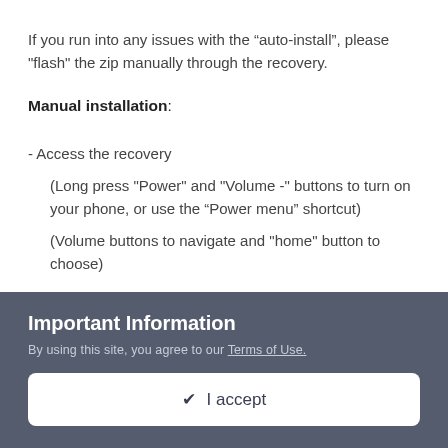If you run into any issues with the “auto-install”, please "flash" the zip manually through the recovery.
Manual installation:
- Access the recovery
(Long press "Power" and "Volume -" buttons to turn on your phone, or use the “Power menu” shortcut)
(Volume buttons to navigate and "home" button to choose)
- Choose "install zip from sdcard"
Important Information
By using this site, you agree to our Terms of Use.
✔ I accept